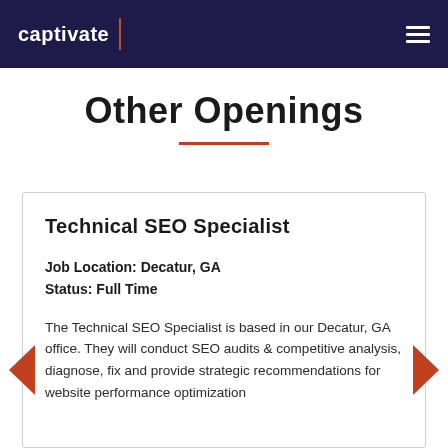captivate
Other Openings
Technical SEO Specialist
Job Location: Decatur, GA
Status: Full Time
The Technical SEO Specialist is based in our Decatur, GA office. They will conduct SEO audits & competitive analysis, diagnose, fix and provide strategic recommendations for website performance optimization